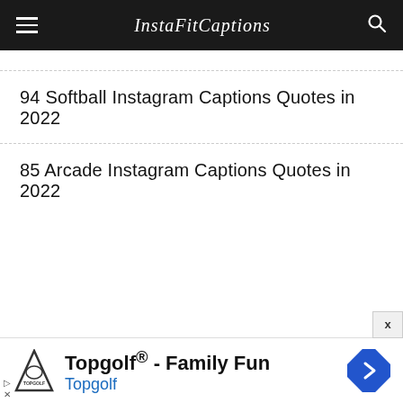InstaFitCaptions
94 Softball Instagram Captions Quotes in 2022
85 Arcade Instagram Captions Quotes in 2022
[Figure (other): Topgolf advertisement banner: Topgolf logo on left, text 'Topgolf® - Family Fun' and 'Topgolf' in blue, navigation arrow icon on right, close X button, ad controls at bottom left]